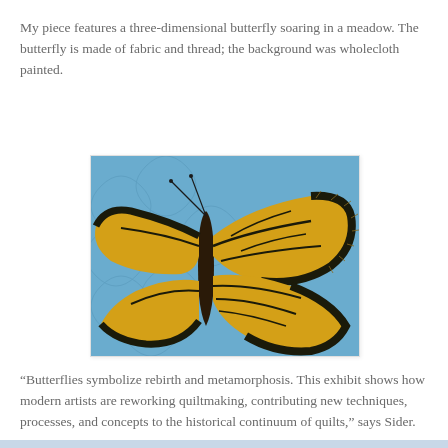My piece features a three-dimensional butterfly soaring in a meadow. The butterfly is made of fabric and thread; the background was wholecloth painted.
[Figure (photo): Close-up photograph of a quilt featuring a three-dimensional butterfly with yellow and black wings against a blue wholecloth painted background with quilted swirling patterns.]
“Butterflies symbolize rebirth and metamorphosis. This exhibit shows how modern artists are reworking quiltmaking, contributing new techniques, processes, and concepts to the historical continuum of quilts,” says Sider.